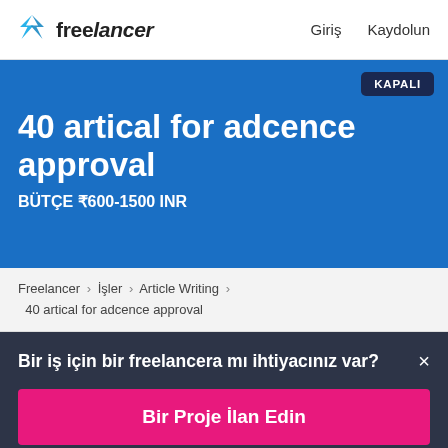freelancer  Giriş  Kaydolun
40 artical for adcence approval
BÜTÇE ₹600-1500 INR
KAPALI
Freelancer › İşler › Article Writing › 40 artical for adcence approval
Bir iş için bir freelancera mı ihtiyacınız var? ×
Bir Proje İlan Edin